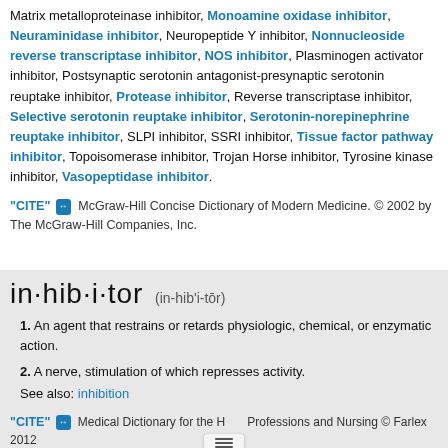Matrix metalloproteinase inhibitor, Monoamine oxidase inhibitor, Neuraminidase inhibitor, Neuropeptide Y inhibitor, Nonnucleoside reverse transcriptase inhibitor, NOS inhibitor, Plasminogen activator inhibitor, Postsynaptic serotonin antagonist-presynaptic serotonin reuptake inhibitor, Protease inhibitor, Reverse transcriptase inhibitor, Selective serotonin reuptake inhibitor, Serotonin-norepinephrine reuptake inhibitor, SLPI inhibitor, SSRI inhibitor, Tissue factor pathway inhibitor, Topoisomerase inhibitor, Trojan Horse inhibitor, Tyrosine kinase inhibitor, Vasopeptidase inhibitor.
"CITE" [icon] McGraw-Hill Concise Dictionary of Modern Medicine. © 2002 by The McGraw-Hill Companies, Inc.
in·hib·i·tor (in-hib'i-tōr)
1. An agent that restrains or retards physiologic, chemical, or enzymatic action.
2. A nerve, stimulation of which represses activity.
See also: inhibition
"CITE" [icon] Medical Dictionary for the Health Professions and Nursing © Farlex 2012